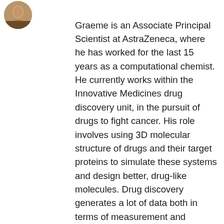[Figure (photo): Circular profile photo of a person at top left of the page]
Graeme is an Associate Principal Scientist at AstraZeneca, where he has worked for the last 15 years as a computational chemist. He currently works within the Innovative Medicines drug discovery unit, in the pursuit of drugs to fight cancer. His role involves using 3D molecular structure of drugs and their target proteins to simulate these systems and design better, drug-like molecules. Drug discovery generates a lot of data both in terms of measurement and chemical structure information. Graeme has been a key player in establishing numerical and statistical learning methods for modelling and predicting the properties of molecules using their structural features.